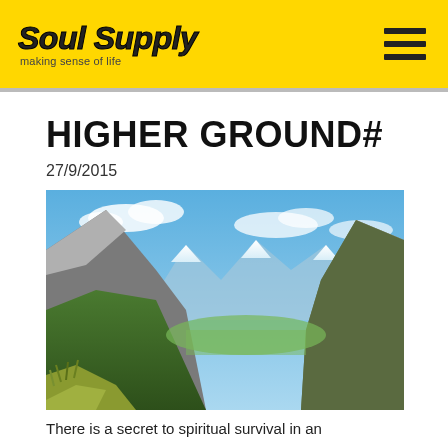Soul Supply — making sense of life
HIGHER GROUND#
27/9/2015
[Figure (photo): Panoramic mountain valley landscape with snow-capped peaks, green forested slopes, and blue sky with clouds — likely Milford Sound / Fiordland, New Zealand.]
There is a secret to spiritual survival in an